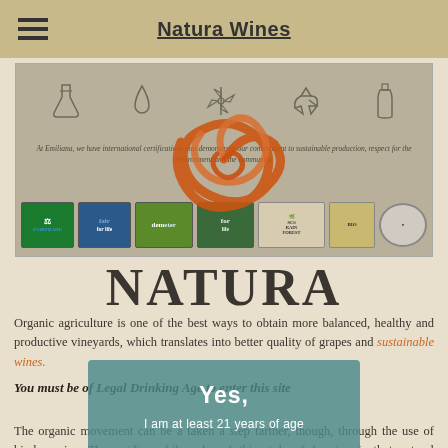Natura Wines
[Figure (illustration): Banner with sustainability icons (flask, drop, windmill, recycle, bottle), orange spiral logo overlay, italic text 'At Emiliana, we have international certifications that demonstrate our commitment to sustainable production, respect for the environment and the community.', and certification badges: Fairtrade, Fair for Life, Demeter, For Life, SCS Rainforest Alliance, and two others.]
NATURA
Organic agriculture is one of the best ways to obtain more balanced, healthy and productive vineyards, which translates into better quality of grapes and sustainable wines.
You must be of Legal Drinking Age to enter this site
Yes, I am at least 21 years of age
The organic movement can be a taken a step farther, though, through the use of biodynamics. The guiding philosophy of this style of farming is that natural elements are connected and dependent upon one another: the plants, the soil,, the animals who provide natural fertilizer, and the water and